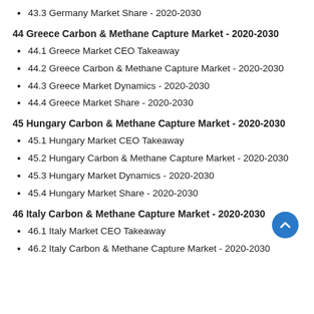43.3 Germany Market Share - 2020-2030
44 Greece Carbon & Methane Capture Market - 2020-2030
44.1 Greece Market CEO Takeaway
44.2 Greece Carbon & Methane Capture Market - 2020-2030
44.3 Greece Market Dynamics - 2020-2030
44.4 Greece Market Share - 2020-2030
45 Hungary Carbon & Methane Capture Market - 2020-2030
45.1 Hungary Market CEO Takeaway
45.2 Hungary Carbon & Methane Capture Market - 2020-2030
45.3 Hungary Market Dynamics - 2020-2030
45.4 Hungary Market Share - 2020-2030
46 Italy Carbon & Methane Capture Market - 2020-2030
46.1 Italy Market CEO Takeaway
46.2 Italy Carbon & Methane Capture Market - 2020-2030